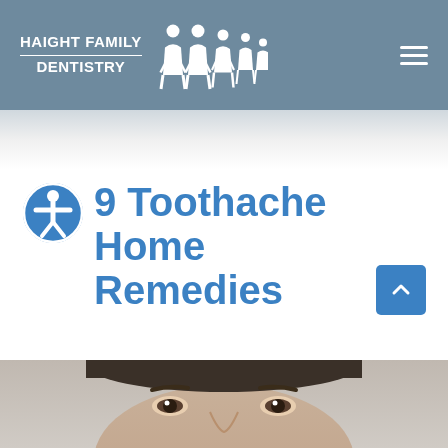HAIGHT FAMILY DENTISTRY
9 Toothache Home Remedies
May 29, 2022 by Haight Family Dentistry
[Figure (photo): Close-up photo of a woman's face with a concerned/pained expression, upper portion visible, dark hair, against a light grey background.]